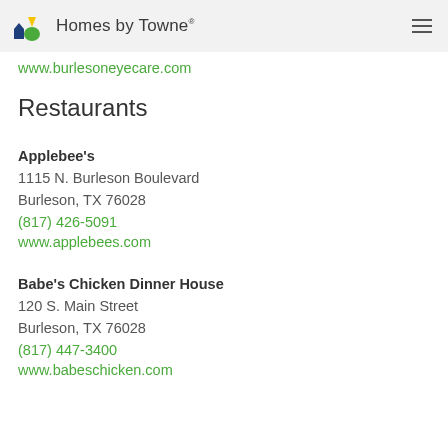Homes by Towne
www.burlesoneyecare.com
Restaurants
Applebee's
1115 N. Burleson Boulevard
Burleson, TX 76028
(817) 426-5091
www.applebees.com
Babe's Chicken Dinner House
120 S. Main Street
Burleson, TX 76028
(817) 447-3400
www.babeschicken.com